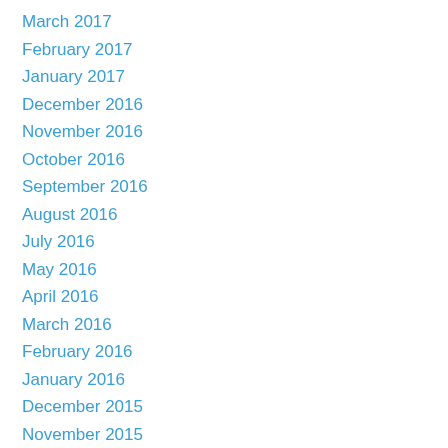March 2017
February 2017
January 2017
December 2016
November 2016
October 2016
September 2016
August 2016
July 2016
May 2016
April 2016
March 2016
February 2016
January 2016
December 2015
November 2015
October 2015
September 2015
August 2015
July 2015
June 2015